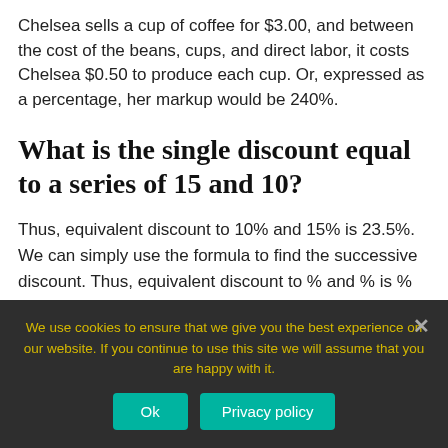Chelsea sells a cup of coffee for $3.00, and between the cost of the beans, cups, and direct labor, it costs Chelsea $0.50 to produce each cup. Or, expressed as a percentage, her markup would be 240%.
What is the single discount equal to a series of 15 and 10?
Thus, equivalent discount to 10% and 15% is 23.5%. We can simply use the formula to find the successive discount. Thus, equivalent discount to % and % is %
We use cookies to ensure that we give you the best experience on our website. If you continue to use this site we will assume that you are happy with it.